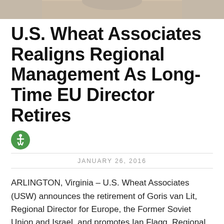[Figure (photo): Top portion of a person's photo, cropped showing shoulders and partial head]
U.S. Wheat Associates Realigns Regional Management As Long-Time EU Director Retires
[Figure (other): Green circle accessibility icon with wheelchair symbol]
JANUARY 26, 2016
ARLINGTON, Virginia – U.S. Wheat Associates (USW) announces the retirement of Goris van Lit, Regional Director for Europe, the Former Soviet Union and Israel, and promotes Ian Flagg, Regional Director, who will add van Lit's responsibilities and continue to